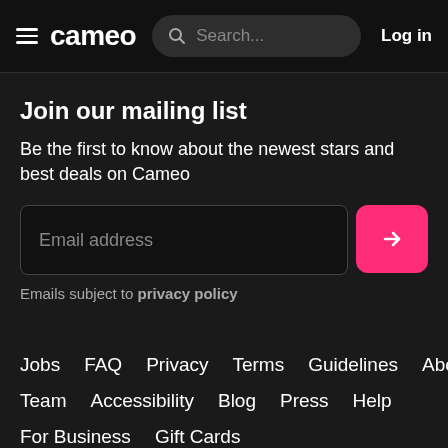cameo — Search... — Log in
Join our mailing list
Be the first to know about the newest stars and best deals on Cameo
Email address
Emails subject to privacy policy
Jobs
FAQ
Privacy
Terms
Guidelines
About
Team
Accessibility
Blog
Press
Help
For Business
Gift Cards